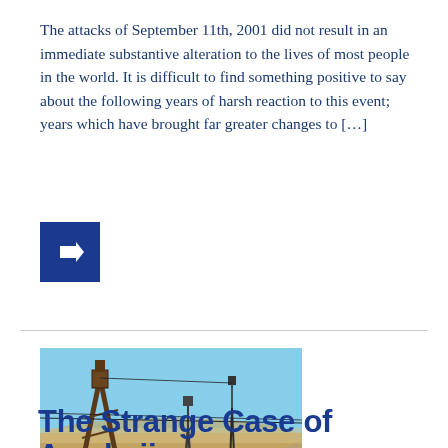The attacks of September 11th, 2001 did not result in an immediate substantive alteration to the lives of most people in the world. It is difficult to find something positive to say about the following years of harsh reaction to this event; years which have brought far greater changes to […]
[Figure (other): Blue square button with a white right-pointing arrow]
[Figure (photo): Photograph of industrial oil derricks and metal structures in an arid landscape under a blue sky, likely in Azerbaijan]
The Strange Case of Azerbaijan